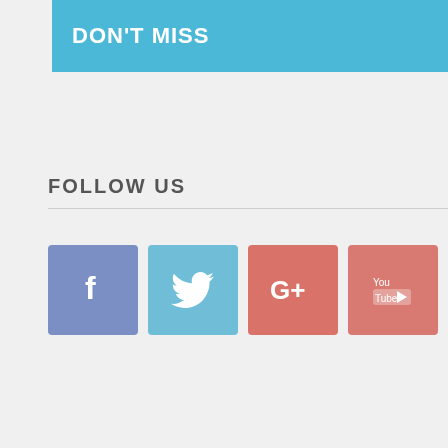DON'T MISS
FOLLOW US
[Figure (infographic): Four social media icon buttons: Facebook (blue-purple), Twitter (light blue), Google+ (salmon/red), YouTube (salmon/red)]
Notice: GOPAS e-learning needs your consent to the use of cookies on this web site. We use only the necessary technical cookies. Our website cannot be displayed without these cookies and they cannot be deactivated.
AGREE